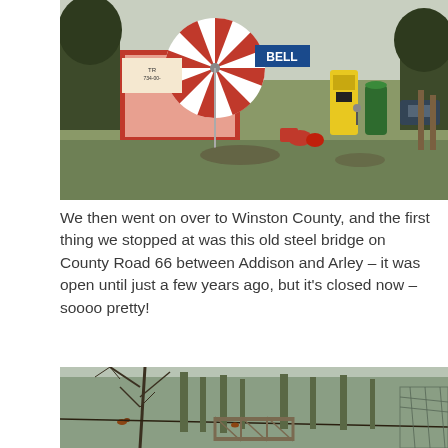[Figure (photo): Outdoor scene showing a roadside store or property with a large red-and-white striped umbrella/pinwheel decoration, a yellow gas pump, signage including 'BELL', red equipment and decorative items, with a grassy yard in front and trees in background.]
We then went on over to Winston County, and the first thing we stopped at was this old steel bridge on County Road 66 between Addison and Arley – it was open until just a few years ago, but it's closed now – soooo pretty!
[Figure (photo): Outdoor scene showing bare winter trees and branches in the foreground with a small steel truss bridge visible in the lower center background, surrounded by leafless forest.]